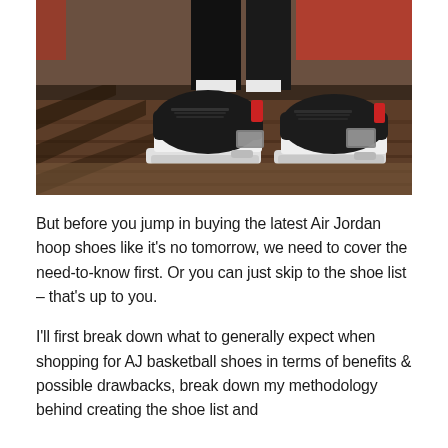[Figure (photo): Close-up photo of a person wearing black and grey Air Jordan 3 sneakers, standing on a textured ground with shadows and a red barrier in the background.]
But before you jump in buying the latest Air Jordan hoop shoes like it's no tomorrow, we need to cover the need-to-know first. Or you can just skip to the shoe list – that's up to you.
I'll first break down what to generally expect when shopping for AJ basketball shoes in terms of benefits & possible drawbacks, break down my methodology behind creating the shoe list and